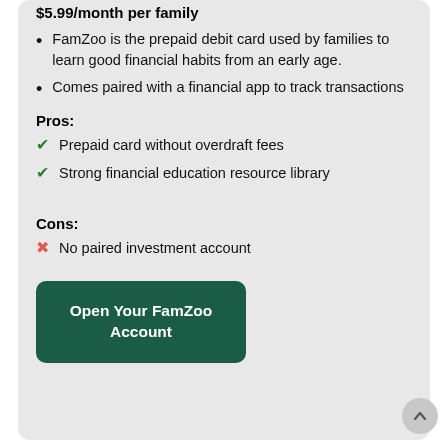$5.99/month per family
FamZoo is the prepaid debit card used by families to learn good financial habits from an early age.
Comes paired with a financial app to track transactions
Pros:
Prepaid card without overdraft fees
Strong financial education resource library
Cons:
No paired investment account
Open Your FamZoo Account